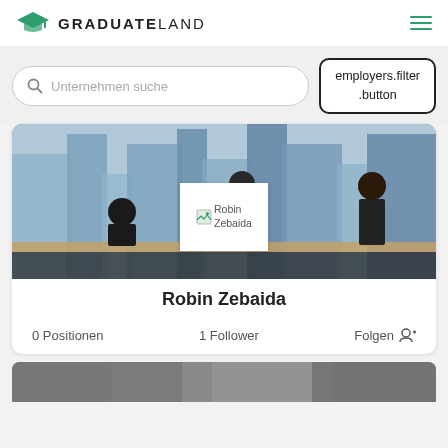[Figure (logo): Graduateland logo with green graduation cap icon and bold text GRADUATELAND]
Unternehmen suche
employers.filter .button
[Figure (photo): Banner photo of businesspeople in a modern office with city view through large windows]
[Figure (photo): Robin Zebaida avatar image placeholder]
Robin Zebaida
0 Positionen
1 Follower
Folgen
[Figure (photo): Partially visible photo strip at bottom of page]